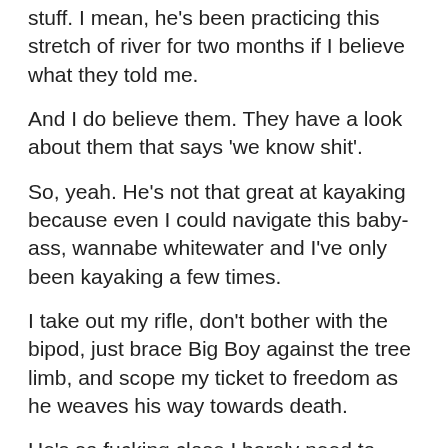stuff. I mean, he's been practicing this stretch of river for two months if I believe what they told me.
And I do believe them. They have a look about them that says 'we know shit'.
So, yeah. He's not that great at kayaking because even I could navigate this baby-ass, wannabe whitewater and I've only been kayaking a few times.
I take out my rifle, don't bother with the bipod, just brace Big Boy against the tree limb, and scope my ticket to freedom as he weaves his way towards death.
He's so fucking close I barely need to aim. His head splatters fractions before the muffled shot rings out in the early morning dawn and I pack it up, swing my way down the tree, then haul ass back to the Goat.
His kayak is waiting for me, swirling in the strong eddy upside down.
I leave Big Boy and my pack on shore and then wade in to the river, swim over to the dead man, and find his loft